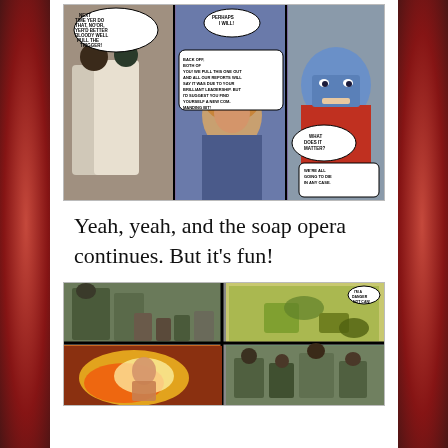[Figure (illustration): Comic book page panels showing characters arguing. A blue-skinned large villain in red costume, a woman with curly hair, and armored figures with speech bubbles including 'NEXT TIME YER DO THAT, NO'OR, YER'D BETTER BLOODY WELL PULL THE TRIGGER!', 'PERHAPS I WILL!', 'BACK OFF, BOTH OF YOU! WE PULL THIS ONE OUT AND ALL OUR REPORTS WILL SAY IT WAS DUE TO YOUR BRILLIANT LEADERSHIP. BUT I'D SUGGEST YOU FIND YOURSELF A NEW COMMANDING BIT!', 'WHAT DOES IT MATTER?', 'WE'RE ALL GOING TO DIE IN ANY CASE.']
Yeah, yeah, and the soap opera continues. But it's fun!
[Figure (illustration): Comic book page panels with action scenes showing characters fighting, explosions, and combat in four quadrants.]